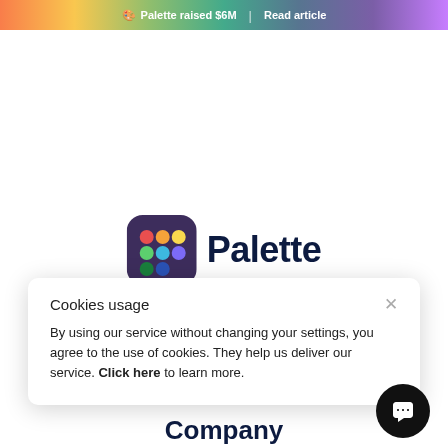🎨 Palette raised $6M | Read article
[Figure (logo): Palette app icon (dark rounded square with colored dots) and Palette wordmark in dark navy bold font]
Cookies usage
By using our service without changing your settings, you agree to the use of cookies. They help us deliver our service. Click here to learn more.
Company